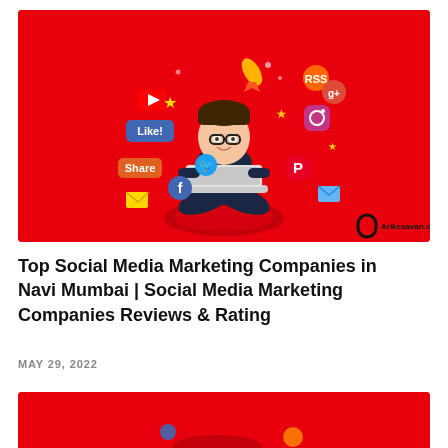[Figure (illustration): Red background illustration of a cartoon man with glasses sitting cross-legged on a cushion, using a laptop, surrounded by floating social media icons (Like, Share, Facebook, Twitter, YouTube, Instagram, Pinterest, Google+, RSS, email, rocket, stars). Watermark: oval logo and 'Arikesavan.com' in bottom-right corner.]
Top Social Media Marketing Companies in Navi Mumbai | Social Media Marketing Companies Reviews & Rating
MAY 29, 2022
[Figure (illustration): Partially visible red background illustration, bottom of page, showing the top of a similar social media marketing graphic.]